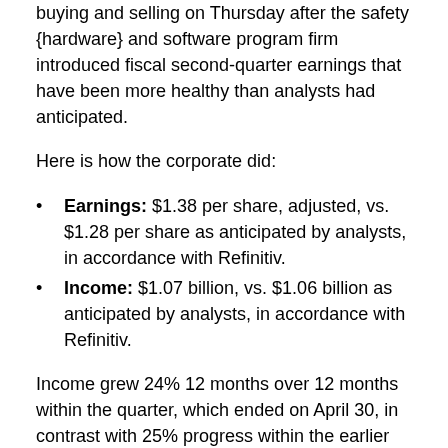buying and selling on Thursday after the safety {hardware} and software program firm introduced fiscal second-quarter earnings that have been more healthy than analysts had anticipated.
Here is how the corporate did:
Earnings: $1.38 per share, adjusted, vs. $1.28 per share as anticipated by analysts, in accordance with Refinitiv.
Income: $1.07 billion, vs. $1.06 billion as anticipated by analysts, in accordance with Refinitiv.
Income grew 24% 12 months over 12 months within the quarter, which ended on April 30, in contrast with 25% progress within the earlier quarter, in accordance with a statement.
CEO Nikesh Arora mentioned within the assertion that there is